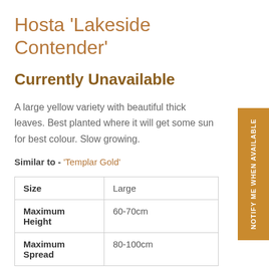Hosta 'Lakeside Contender'
Currently Unavailable
A large yellow variety with beautiful thick leaves. Best planted where it will get some sun for best colour. Slow growing.
Similar to - 'Templar Gold'
|  |  |
| --- | --- |
| Size | Large |
| Maximum Height | 60-70cm |
| Maximum Spread | 80-100cm |